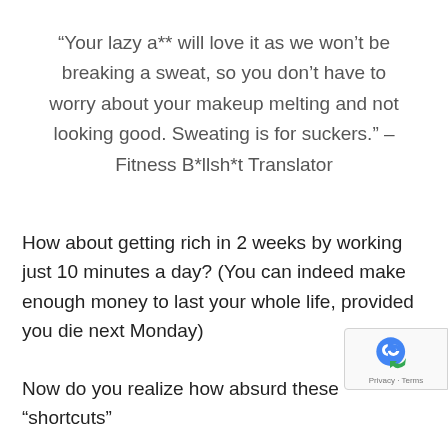“Your lazy a** will love it as we won’t be breaking a sweat, so you don’t have to worry about your makeup melting and not looking good. Sweating is for suckers.” – Fitness B*llsh*t Translator
How about getting rich in 2 weeks by working just 10 minutes a day? (You can indeed make enough money to last your whole life, provided you die next Monday)
Now do you realize how absurd these “shortcuts”